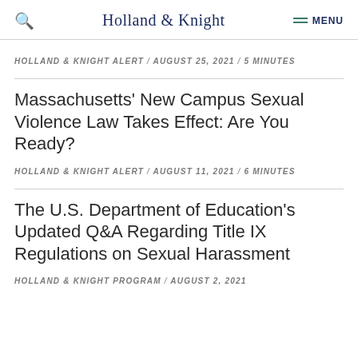Holland & Knight
HOLLAND & KNIGHT ALERT / AUGUST 25, 2021 / 5 MINUTES
Massachusetts' New Campus Sexual Violence Law Takes Effect: Are You Ready?
HOLLAND & KNIGHT ALERT / AUGUST 11, 2021 / 6 MINUTES
The U.S. Department of Education's Updated Q&A Regarding Title IX Regulations on Sexual Harassment
HOLLAND & KNIGHT PROGRAM / AUGUST 2, 2021